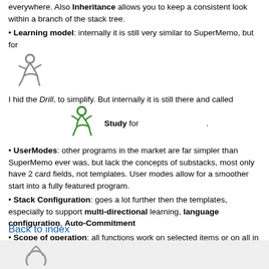everywhere. Also Inheritance allows you to keep a consistent look within a branch of the stack tree.
Learning model: internally it is still very similar to SuperMemo, but for
[Figure (illustration): Gray icon of a running figure (Drill icon)]
I hid the Drill, to simplify. But internally it is still there and called
[Figure (illustration): Green icon of a running figure (Study icon)]
Study for .
UserModes: other programs in the market are far simpler than SuperMemo ever was, but lack the concepts of substacks, most only have 2 card fields, not templates. User modes allow for a smoother start into a fully featured program.
Stack Configuration: goes a lot further then the templates, especially to support multi-directional learning, language configuration, Auto-Commitment
Scope of operation: all functions work on selected items or on all in the list, if nothing is selected
Back to index